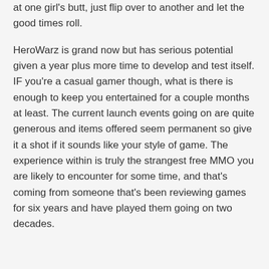at one girl's butt, just flip over to another and let the good times roll.
HeroWarz is grand now but has serious potential given a year plus more time to develop and test itself. IF you're a casual gamer though, what is there is enough to keep you entertained for a couple months at least. The current launch events going on are quite generous and items offered seem permanent so give it a shot if it sounds like your style of game. The experience within is truly the strangest free MMO you are likely to encounter for some time, and that's coming from someone that's been reviewing games for six years and have played them going on two decades.